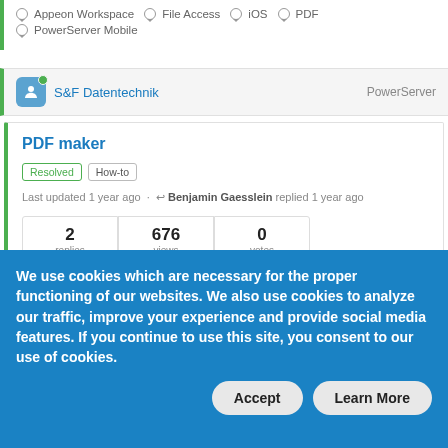Appeon Workspace   File Access   iOS   PDF   PowerServer Mobile
S&F Datentechnik   PowerServer
PDF maker
Resolved   How-to
Last updated 1 year ago · Benjamin Gaesslein replied 1 year ago
| replies | views | votes |
| --- | --- | --- |
| 2 | 676 | 0 |
We use cookies which are necessary for the proper functioning of our websites. We also use cookies to analyze our traffic, improve your experience and provide social media features. If you continue to use this site, you consent to our use of cookies.
Accept   Learn More